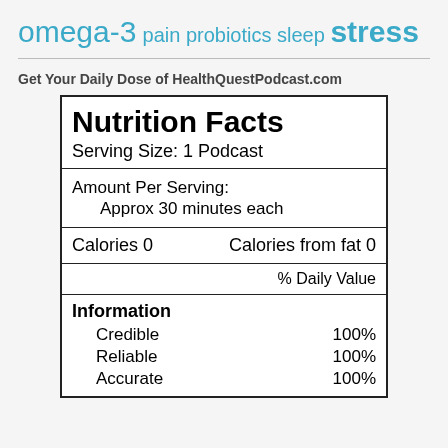omega-3 pain probiotics sleep stress
Get Your Daily Dose of HealthQuestPodcast.com
[Figure (other): Nutrition Facts label styled graphic for HealthQuestPodcast.com. Shows: Serving Size: 1 Podcast, Amount Per Serving: Approx 30 minutes each, Calories 0, Calories from fat 0, % Daily Value, Information: Credible 100%, Reliable 100%, Accurate 100%]